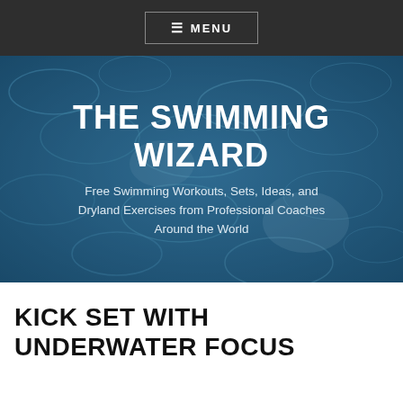≡ MENU
THE SWIMMING WIZARD
Free Swimming Workouts, Sets, Ideas, and Dryland Exercises from Professional Coaches Around the World
KICK SET WITH UNDERWATER FOCUS